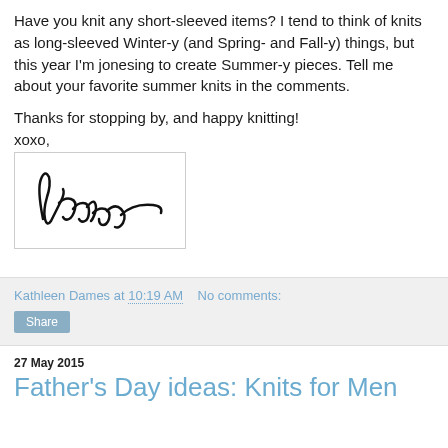Have you knit any short-sleeved items? I tend to think of knits as long-sleeved Winter-y (and Spring- and Fall-y) things, but this year I'm jonesing to create Summer-y pieces. Tell me about your favorite summer knits in the comments.
Thanks for stopping by, and happy knitting!
xoxo,
[Figure (illustration): Handwritten cursive signature reading 'Kathleen' in a bordered box]
Kathleen Dames at 10:19 AM   No comments:
Share
27 May 2015
Father's Day ideas: Knits for Men